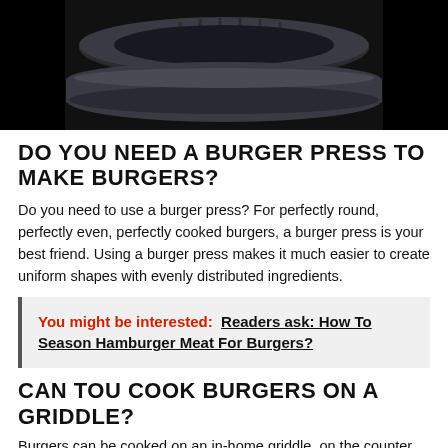[Figure (photo): Close-up photo of a dark circular burger press/patty maker on a black background]
DO YOU NEED A BURGER PRESS TO MAKE BURGERS?
Do you need to use a burger press? For perfectly round, perfectly even, perfectly cooked burgers, a burger press is your best friend. Using a burger press makes it much easier to create uniform shapes with evenly distributed ingredients.
You might be interested: Readers ask: How To Season Hamburger Meat For Burgers?
CAN TOU COOK BURGERS ON A GRIDDLE?
Burgers can be cooked on an in-home griddle, on the counter, or on an outdoor grill with a griddle attachment. “When cooking burgers on a griddle, it’s important to keep a close eye on them